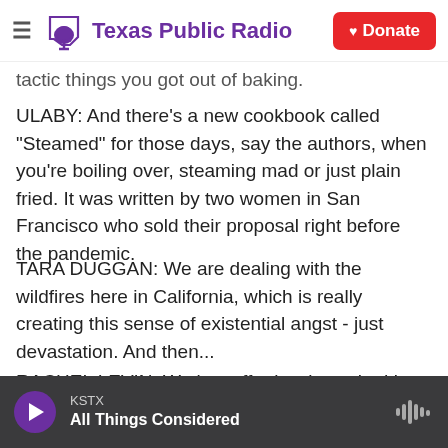Texas Public Radio | Donate
tactic things you got out of baking.
ULABY: And there's a new cookbook called "Steamed" for those days, say the authors, when you're boiling over, steaming mad or just plain fried. It was written by two women in San Francisco who sold their proposal right before the pandemic.
TARA DUGGAN: We are dealing with the wildfires here in California, which is really creating this sense of existential angst - just devastation. And then...
RACHEL LEVIN: We just effortlessly worked in COVID (laughter).
KSTX | All Things Considered